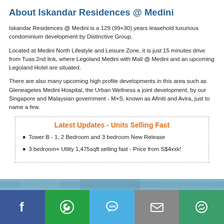About Iskandar Residences @ Medini
Iskandar Residences @ Medini is a 129 (99+30) years leasehold luxurious condominium development by Distinctive Group.
Located at Medini North Lifestyle and Leisure Zone, it is just 15 minutes drive from Tuas 2nd link, where Legoland Medini with Mall @ Medini and an upcoming Legoland Hotel are situated.
There are also many upcoming high profile developments in this area such as Gleneageles Medini Hospital, the Urban Wellness a joint development, by our Singapore and Malaysian government - M+S, known as Afiniti and Avira, just to name a few.
Latest Updates - Units Selling Fast
Tower B - 1, 2 Bedroom and 3 bedroom New Release
3 bedroom+ Utlity 1,475sqft selling fast - Price from S$4xxk!
[Figure (other): Partial building/architectural photo at bottom of page]
[Figure (other): Social sharing bar with Facebook, WhatsApp, SMS, Email, and share icons]